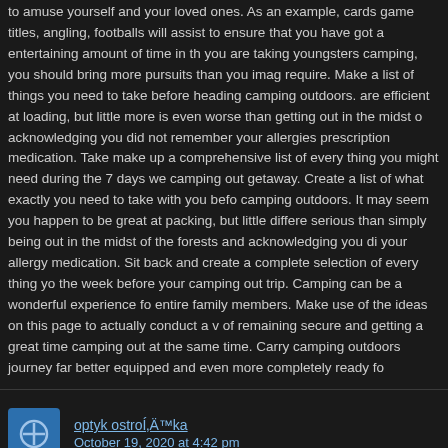to amuse yourself and your loved ones. As an example, cards game titles, angling, footballs will assist to ensure that you have got a entertaining amount of time in th... you are taking youngsters camping, you should bring more pursuits than you imag... require. Make a list of things you need to take before heading camping outdoors. are efficient at loading, but little more is even worse than getting out in the midst o... acknowledging you did not remember your allergies prescription medication. Take... make up a comprehensive list of every thing you might need during the 7 days we... camping out getaway. Create a list of what exactly you need to take with you befo... camping outdoors. It may seem you happen to be great at packing, but little differe... serious than simply being out in the midst of the forests and acknowledging you di... your allergy medication. Sit back and create a complete selection of every thing yo... the week before your camping out trip. Camping can be a wonderful experience fo... entire family members. Make use of the ideas on this page to actually conduct a v... of remaining secure and getting a great time camping out at the same time. Carry camping outdoors journey far better equipped and even more completely ready fo...
optyk ostroÍ‚Ä™ka
October 19, 2020 at 4:42 pm
I am not sure where you are getting your info, but good topic. I needs to spend so... learning more or understanding more. Thanks for magnificent info I was looking fo... information for my mission.
izmir bayan